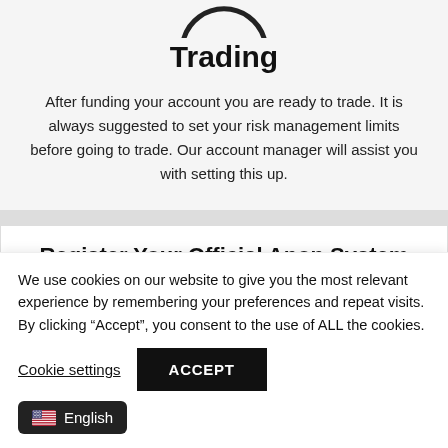[Figure (illustration): Partial circle arc icon at top of trading section]
Trading
After funding your account you are ready to trade. It is always suggested to set your risk management limits before going to trade. Our account manager will assist you with setting this up.
Register Your Official Anon System Account
We use cookies on our website to give you the most relevant experience by remembering your preferences and repeat visits. By clicking “Accept”, you consent to the use of ALL the cookies.
Cookie settings
ACCEPT
English